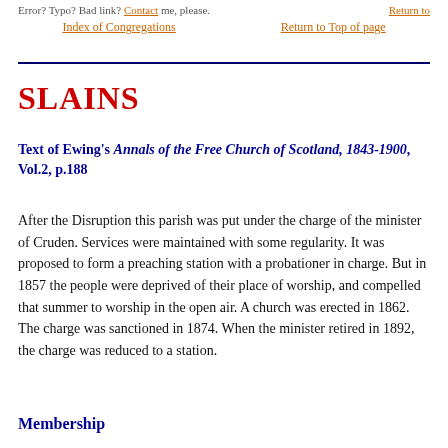Error? Typo? Bad link? Contact me, please.   Return to Index of Congregations   Return to Top of page
SLAINS
Text of Ewing's Annals of the Free Church of Scotland, 1843-1900, Vol.2, p.188
After the Disruption this parish was put under the charge of the minister of Cruden. Services were maintained with some regularity. It was proposed to form a preaching station with a probationer in charge. But in 1857 the people were deprived of their place of worship, and compelled that summer to worship in the open air. A church was erected in 1862. The charge was sanctioned in 1874. When the minister retired in 1892, the charge was reduced to a station.
Membership